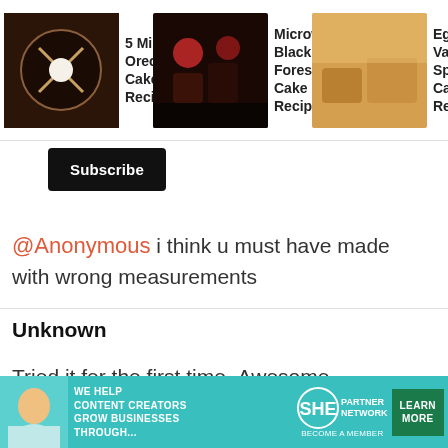[Figure (screenshot): Top navigation bar with three recipe thumbnails: '5 Min Oreo Cake Recipe', 'Microwave Black Forest Cake Recipe', 'Eggless Vanilla Sponge Cake Recipe']
Subscribe
@Anonymous i think u must have made with wrong measurements
REPLY
80
Unknown
Tried it fer the first time..Awesome
[Figure (screenshot): Advertisement banner: 'WE HELP CONTENT CREATORS GROW BUSINESSES THROUGH... SHE PARTNER NETWORK BECOME A MEMBER LEARN MORE']